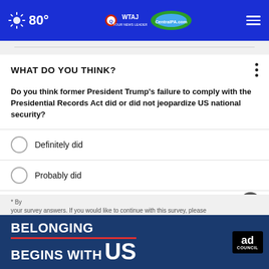80° WTAJ CentralPA.com
WHAT DO YOU THINK?
Do you think former President Trump's failure to comply with the Presidential Records Act did or did not jeopardize US national security?
Definitely did
Probably did
Probably did not
Definitely did not
Other / No opinion
[Figure (infographic): Ad Council banner: BELONGING BEGINS WITH US]
* By ... your survey answers. If you would like to continue with this survey, please